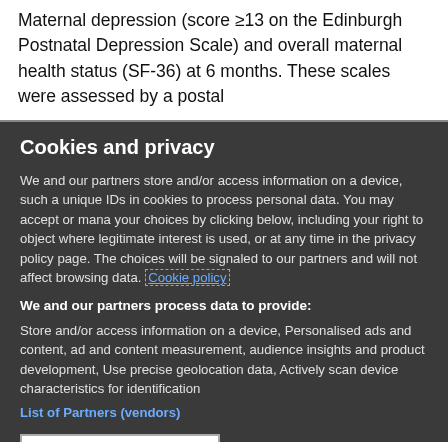Maternal depression (score ≥13 on the Edinburgh Postnatal Depression Scale) and overall maternal health status (SF-36) at 6 months. These scales were assessed by a postal
Cookies and privacy
We and our partners store and/or access information on a device, such as unique IDs in cookies to process personal data. You may accept or manage your choices by clicking below, including your right to object where legitimate interest is used, or at any time in the privacy policy page. These choices will be signaled to our partners and will not affect browsing data. Cookie policy
We and our partners process data to provide:
Store and/or access information on a device, Personalised ads and content, ad and content measurement, audience insights and product development, Use precise geolocation data, Actively scan device characteristics for identification
List of Partners (vendors)
I Accept